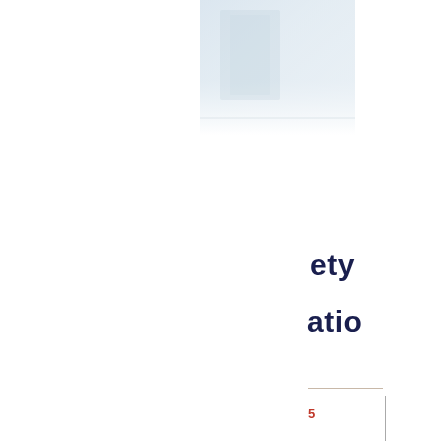[Figure (photo): Partial view of a blurred/faded photo in the upper center area of the page, showing a light blue/white abstract or interior image, cropped at the edges]
iety
atio
5